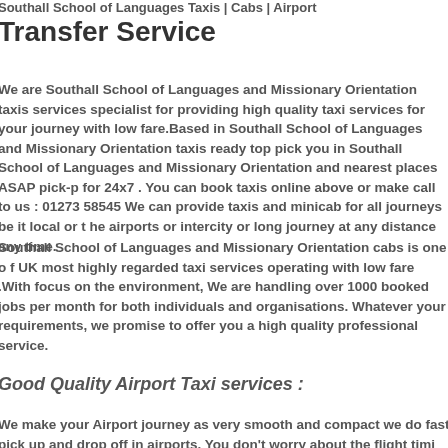Southall School of Languages Taxis | Cabs | Airport Transfer Service
We are Southall School of Languages and Missionary Orientation taxi services specialist for providing high quality taxi services for your journey with low fare.Based in Southall School of Languages and Missionary Orientation taxis ready top pick you in Southall School of Languages and Missionary Orientation and nearest places ASAP pick-p for 24x7 . You can book taxis online above or make call to us : 01273 58545 We can provide taxis and minicab for all journeys be it local or the airports or intercity or long journey at any distance any time.
Southall School of Languages and Missionary Orientation cabs is one of UK most highly regarded taxi services operating with low fare .With focus on the environment, We are handling over 1000 booked jobs per month for both individuals and organisations. Whatever your requirements, we promise to offer you a high quality professional service.
Good Quality Airport Taxi services :
We make your Airport journey as very smooth and compact we do fast pick up and drop off in airports. You don't worry about the flight timing